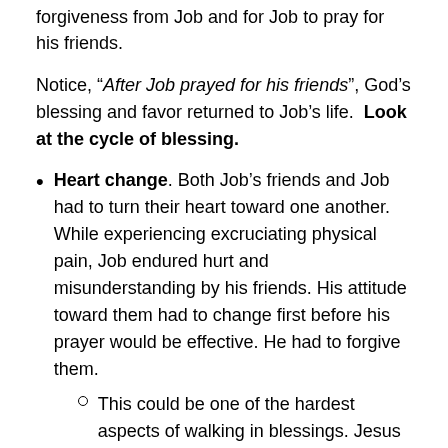forgiveness from Job and for Job to pray for his friends.
Notice, “After Job prayed for his friends”, God’s blessing and favor returned to Job’s life. Look at the cycle of blessing.
Heart change. Both Job’s friends and Job had to turn their heart toward one another. While experiencing excruciating physical pain, Job endured hurt and misunderstanding by his friends. His attitude toward them had to change first before his prayer would be effective. He had to forgive them.
This could be one of the hardest aspects of walking in blessings. Jesus said that unforgiveness keeps us in bondage.